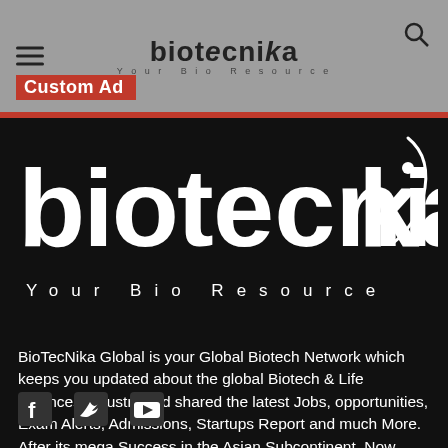biotecnika Your Bio Resource Custom Ad
[Figure (logo): Biotecnika logo in white on black background with tagline 'Your Bio Resource']
BioTecNika Global is your Global Biotech Network which keeps you updated about the global Biotech & Life Sciences Industry and shared the latest Jobs, opportunities, Exam Alerts, Admissions, Startups Report and much More. After its mega Success in the Asian Subcontinent, Now BiotecNika has launched its Global Web Portal at www.biotecnika.com Contact us: info@biotecnika.com
[Figure (illustration): Social media icons: Facebook, Twitter, YouTube]